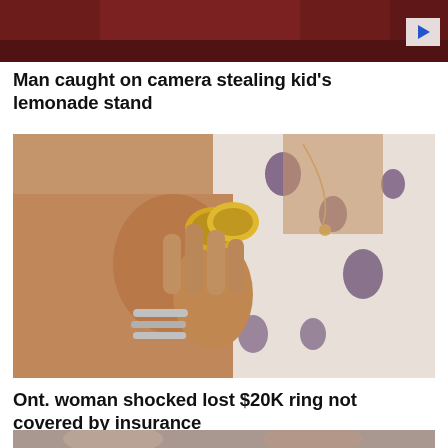[Figure (photo): Partial dark red/maroon background image, top of page, cropped]
Man caught on camera stealing kid's lemonade stand
[Figure (photo): Close-up photo of a woman's hand holding gold wedding rings, wearing multiple silver rings on another finger, woman wearing white top with purple floral print, necklace visible]
Ont. woman shocked lost $20K ring not covered by insurance
[Figure (photo): Bottom strip of a photo showing partial faces, cropped, beginning of next article image]